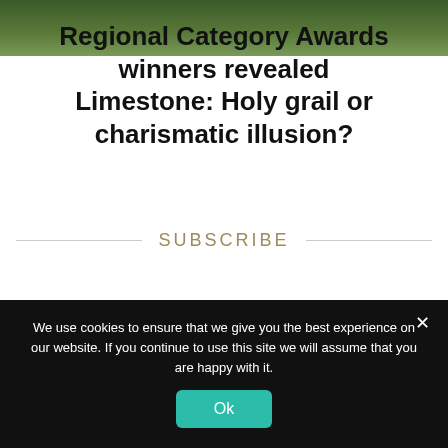[Figure (photo): Aerial/overhead photo of a landscape with trees (green foliage), partially visible at the top of the page with text overlaid.]
Regional Category Awards winners revealed
Limestone: Holy grail or charismatic illusion?
SUBSCRIBE
Sign up to our newsletter
For award-winning content from the
We use cookies to ensure that we give you the best experience on our website. If you continue to use this site we will assume that you are happy with it.
Ok